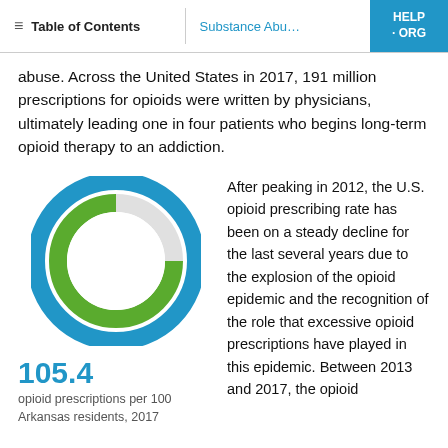Table of Contents | Substance Abu... | HELP · ORG
abuse. Across the United States in 2017, 191 million prescriptions for opioids were written by physicians, ultimately leading one in four patients who begins long-term opioid therapy to an addiction.
[Figure (donut-chart): Opioid prescriptions per 100 Arkansas residents, 2017]
105.4 opioid prescriptions per 100 Arkansas residents, 2017
After peaking in 2012, the U.S. opioid prescribing rate has been on a steady decline for the last several years due to the explosion of the opioid epidemic and the recognition of the role that excessive opioid prescriptions have played in this epidemic. Between 2013 and 2017, the opioid